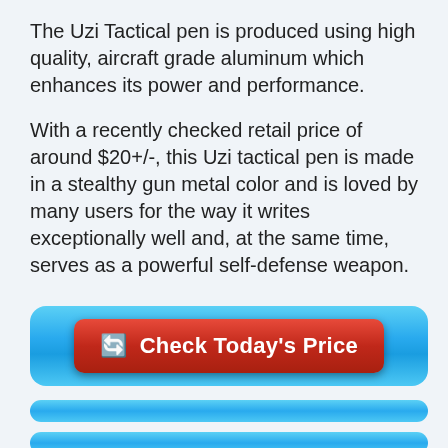The Uzi Tactical pen is produced using high quality, aircraft grade aluminum which enhances its power and performance.
With a recently checked retail price of around $20+/-, this Uzi tactical pen is made in a stealthy gun metal color and is loved by many users for the way it writes exceptionally well and, at the same time, serves as a powerful self-defense weapon.
[Figure (other): A blue rounded rectangle button container with a red rounded rectangle call-to-action button labeled '🔄 Check Today's Price' in white bold text]